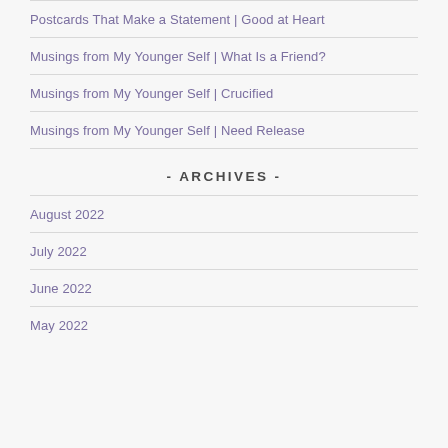Postcards That Make a Statement | Good at Heart
Musings from My Younger Self | What Is a Friend?
Musings from My Younger Self | Crucified
Musings from My Younger Self | Need Release
- ARCHIVES -
August 2022
July 2022
June 2022
May 2022